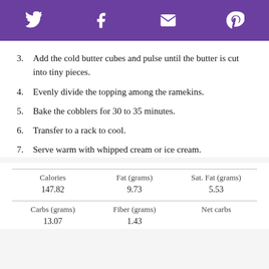Social share icons: Twitter, Facebook, Email, Pinterest
3. Add the cold butter cubes and pulse until the butter is cut into tiny pieces.
4. Evenly divide the topping among the ramekins.
5. Bake the cobblers for 30 to 35 minutes.
6. Transfer to a rack to cool.
7. Serve warm with whipped cream or ice cream.
| Calories | Fat (grams) | Sat. Fat (grams) |
| --- | --- | --- |
| 147.82 | 9.73 | 5.53 |
| Carbs (grams) | Fiber (grams) | Net carbs |
| --- | --- | --- |
| 13.07 | 1.43 |  |